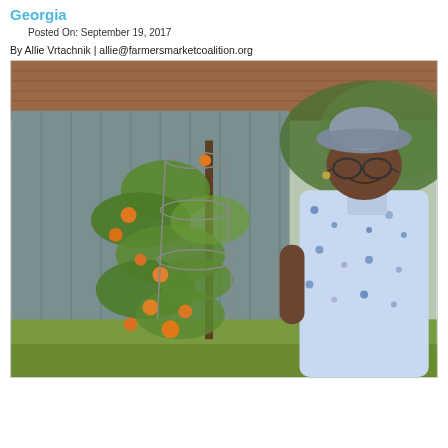Georgia
Posted On: September 19, 2017
By Allie Vrtachnik | allie@farmersmarketcoalition.org
[Figure (photo): An elderly woman wearing a hat and floral blouse stands smiling next to a tomato plant in front of a corrugated metal barn wall]